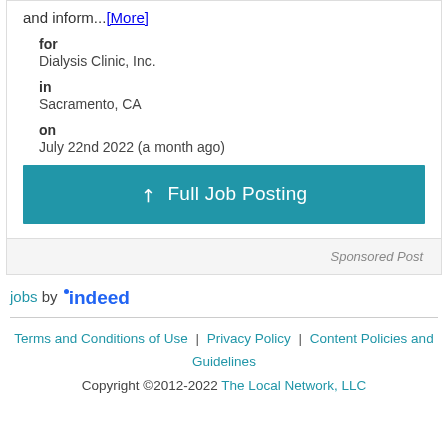and inform...[More]
for
Dialysis Clinic, Inc.
in
Sacramento, CA
on
July 22nd 2022 (a month ago)
Full Job Posting
Sponsored Post
jobs by indeed
Terms and Conditions of Use | Privacy Policy | Content Policies and Guidelines
Copyright ©2012-2022 The Local Network, LLC